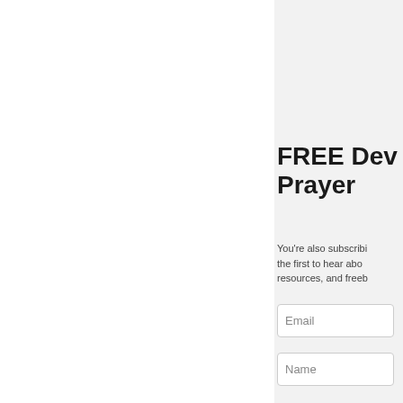[Figure (photo): Photo of person praying outdoors on green grass, partially visible in the top right corner]
FREE Dev... Prayer
You're also subscribi... the first to hear abo... resources, and freeb...
Email
Name